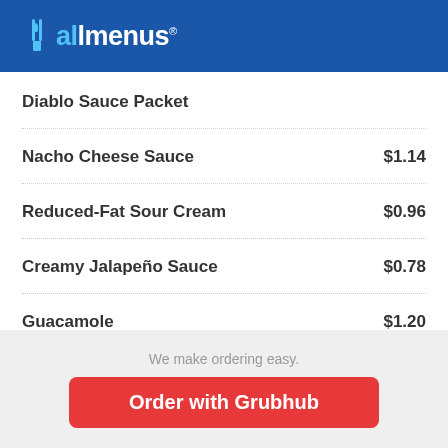allmenus
Diablo Sauce Packet
Nacho Cheese Sauce $1.14
Reduced-Fat Sour Cream $0.96
Creamy Jalapeño Sauce $0.78
Guacamole $1.20
We make ordering easy.
Order with Grubhub